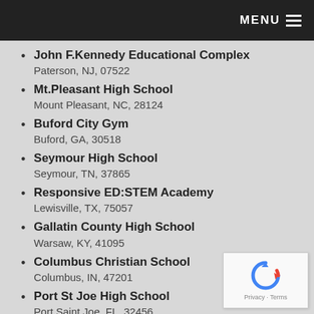MENU
John F.Kennedy Educational Complex
Paterson, NJ, 07522
Mt.Pleasant High School
Mount Pleasant, NC, 28124
Buford City Gym
Buford, GA, 30518
Seymour High School
Seymour, TN, 37865
Responsive ED:STEM Academy
Lewisville, TX, 75057
Gallatin County High School
Warsaw, KY, 41095
Columbus Christian School
Columbus, IN, 47201
Port St Joe High School
Port Saint Joe, FL, 32456
Commack High School
Commack, NY, 11725
Covington High School
Covington, TN, 38019